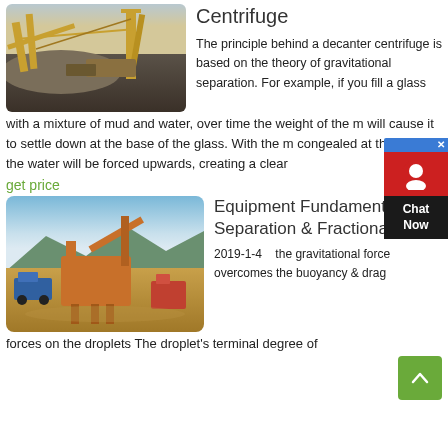[Figure (photo): Outdoor mining/quarry equipment facility with yellow conveyor structures and large gravel piles]
Centrifuge
The principle behind a decanter centrifuge is based on the theory of gravitational separation. For example, if you fill a glass with a mixture of mud and water, over time the weight of the m will cause it to settle down at the base of the glass. With the m congealed at the bottom, the water will be forced upwards, creating a clear
get price
[Figure (photo): Outdoor quarry with orange and blue heavy machinery and separation equipment on a dirt ground]
Equipment Fundamentals: Separation & Fractionation
2019-1-4   the gravitational force overcomes the buoyancy & drag forces on the droplets The droplet's terminal degree of